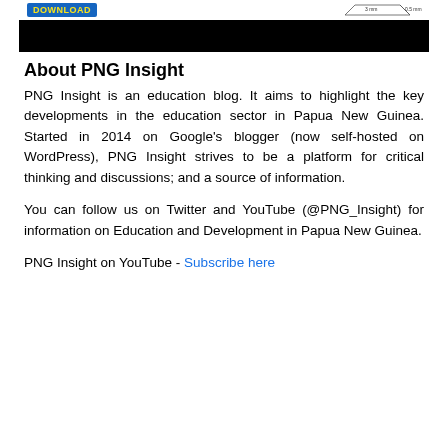[Figure (other): Banner image with a blue DOWNLOAD button and a technical diagram, below which is a black bar.]
About PNG Insight
PNG Insight is an education blog. It aims to highlight the key developments in the education sector in Papua New Guinea. Started in 2014 on Google's blogger (now self-hosted on WordPress), PNG Insight strives to be a platform for critical thinking and discussions; and a source of information.
You can follow us on Twitter and YouTube (@PNG_Insight) for information on Education and Development in Papua New Guinea.
PNG Insight on YouTube - Subscribe here